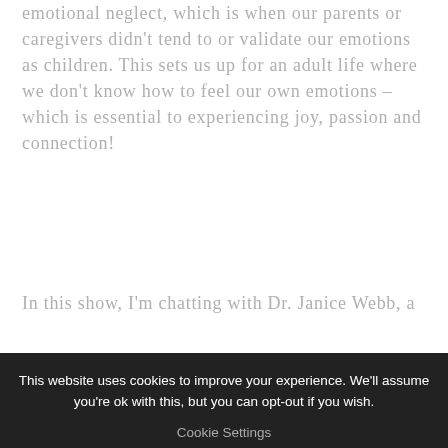emotional neglect, which is when our parents or caregivers didn't tend to or validate our emotions as children. This sets us up for an adult life where we don't know how to feel our own emotions – which is essential to experiencing joy, passion and connection!
In this show, I'm chatting with Dr. Janice Webb, a...
This website uses cookies to improve your experience. We'll assume you're ok with this, but you can opt-out if you wish. Cookie Settings ACCEPT